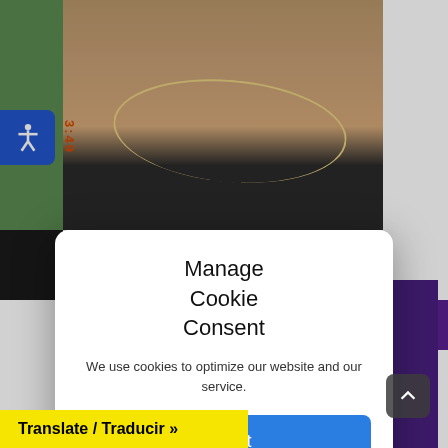[Figure (screenshot): Website screenshot with a person's chest/neckline visible in background, purple-lit scene below with another person's face]
Manage Cookie Consent
We use cookies to optimize our website and our service.
Accept
Cookie Policy
Translate / Traducir »